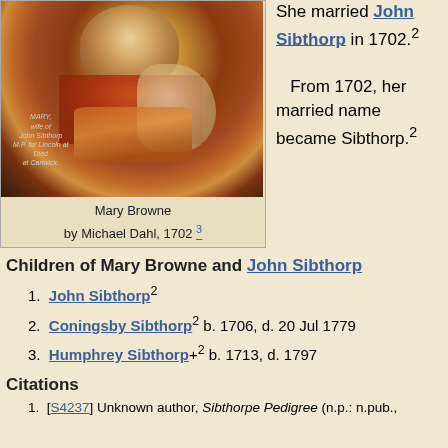[Figure (photo): Portrait painting of Mary Browne by Michael Dahl, 1702, showing a woman in red/orange dress]
Mary Browne
by Michael Dahl, 1702 3
She married John Sibthorp in 1702.2 From 1702, her married name became Sibthorp.2
Children of Mary Browne and John Sibthorp
John Sibthorp2
Coningsby Sibthorp2 b. 1706, d. 20 Jul 1779
Humphrey Sibthorp+2 b. 1713, d. 1797
Citations
[S4237] Unknown author, Sibthorpe Pedigree (n.p.: n.pub.,